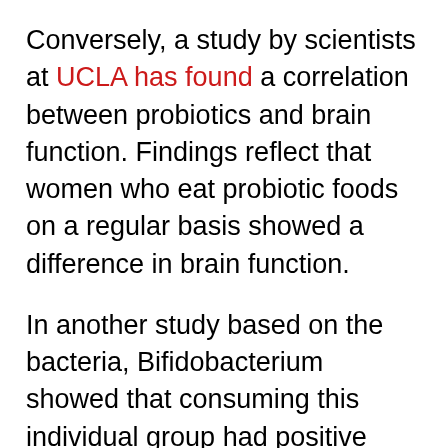Conversely, a study by scientists at UCLA has found a correlation between probiotics and brain function. Findings reflect that women who eat probiotic foods on a regular basis showed a difference in brain function.
In another study based on the bacteria, Bifidobacterium showed that consuming this individual group had positive effects on memory tests. Unfortunately, scientists don't know exactly how the bacteria in the gut is talking to your brain. Or the implications of it. And other studies have proved the exact opposite; that probiotics have a negative effect on memory.
The implications of probiotic treatments that...